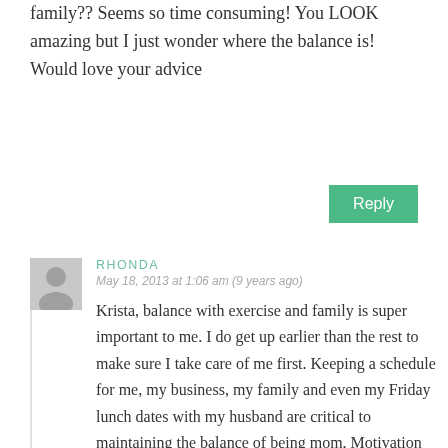family?? Seems so time consuming! You LOOK amazing but I just wonder where the balance is! Would love your advice
Reply
RHONDA
May 18, 2013 at 1:06 am (9 years ago)
Krista, balance with exercise and family is super important to me. I do get up earlier than the rest to make sure I take care of me first. Keeping a schedule for me, my business, my family and even my Friday lunch dates with my husband are critical to maintaining the balance of being mom, Motivation Rhonda, Rhonda, a wife and friend. I am very thankful to have amazing li...